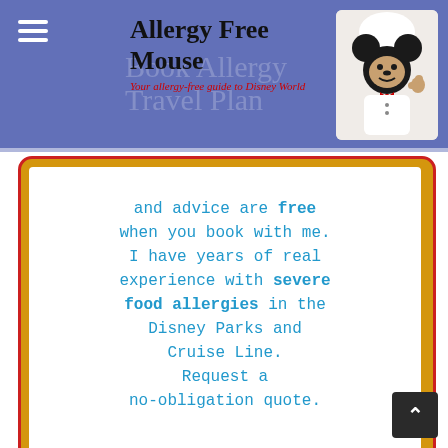Allergy Free Mouse — Your allergy-free guide to Disney World
[Figure (infographic): Advertisement for Pixie Lizzie travel planning service. Text reads: 'My concierge service and advice are free when you book with me. I have years of real experience with severe food allergies in the Disney Parks and Cruise Line. Request a no-obligation quote.' Below is a stylized 'Pixie Lizzie' signature logo with stars and a magic wand, on a white card with gold/orange border and red trim.]
[Figure (logo): Partially visible V-shaped logo with red and gold/yellow stripes at the bottom of the page, on a gold/orange background with red border.]